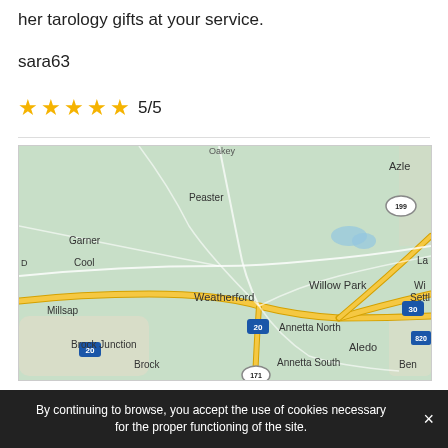her tarology gifts at your service.
sara63
★★★★★ 5/5
[Figure (map): Google Maps screenshot showing the Weatherford, TX area with surrounding towns: Peaster, Garner, Cool, Millsap, Brock Junction, Brock, Azle, Willow Park, Annetta North, Annetta South, Aledo, and highways including 20, 30, 199, 820, 171.]
By continuing to browse, you accept the use of cookies necessary for the proper functioning of the site.